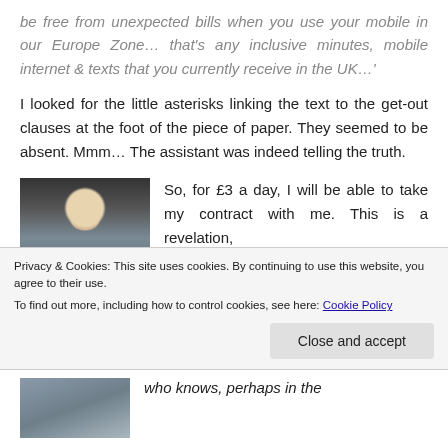be free from unexpected bills when you use your mobile in our Europe Zone… that's any inclusive minutes, mobile internet & texts that you currently receive in the UK…'
I looked for the little asterisks linking the text to the get-out clauses at the foot of the piece of paper. They seemed to be absent. Mmm… The assistant was indeed telling the truth.
[Figure (photo): A man with blond hair talking on a mobile phone, photographed outdoors near iron railings]
So, for £3 a day, I will be able to take my contract with me. This is a revelation,
Privacy & Cookies: This site uses cookies. By continuing to use this website, you agree to their use.
To find out more, including how to control cookies, see here: Cookie Policy
Close and accept
[Figure (photo): Partial view of a person outdoors]
who knows, perhaps in the